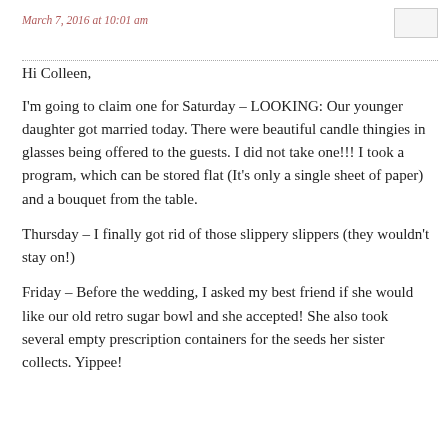March 7, 2016 at 10:01 am
Hi Colleen,
I'm going to claim one for Saturday – LOOKING: Our younger daughter got married today. There were beautiful candle thingies in glasses being offered to the guests. I did not take one!!! I took a program, which can be stored flat (It's only a single sheet of paper) and a bouquet from the table.
Thursday – I finally got rid of those slippery slippers (they wouldn't stay on!)
Friday – Before the wedding, I asked my best friend if she would like our old retro sugar bowl and she accepted! She also took several empty prescription containers for the seeds her sister collects. Yippee!